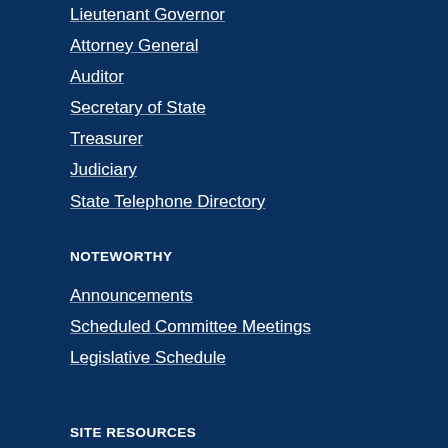Lieutenant Governor
Attorney General
Auditor
Secretary of State
Treasurer
Judiciary
State Telephone Directory
NOTEWORTHY
Announcements
Scheduled Committee Meetings
Legislative Schedule
SITE RESOURCES
Sitemap | Disclaimers